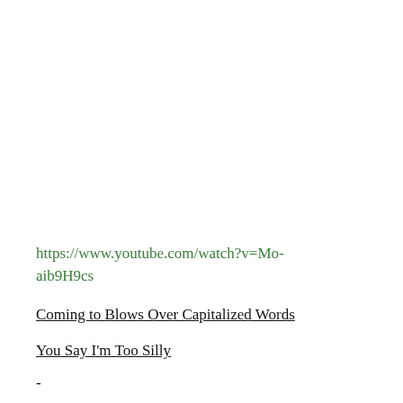https://www.youtube.com/watch?v=Mo-aib9H9cs
Coming to Blows Over Capitalized Words
You Say I'm Too Silly
-